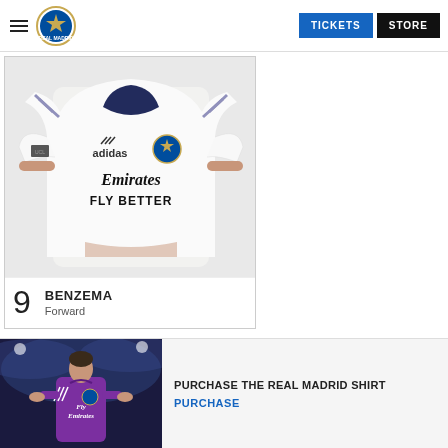TICKETS  STORE
[Figure (photo): Real Madrid jersey (white, Emirates Fly Better sponsor, adidas logo) worn by player, upper torso visible]
9  BENZEMA
Forward
PURCHASE THE REAL MADRID SHIRT
PURCHASE
[Figure (photo): Player wearing purple Real Madrid goalkeeper/alternate jersey (Fly Emirates sponsor), standing in stadium]